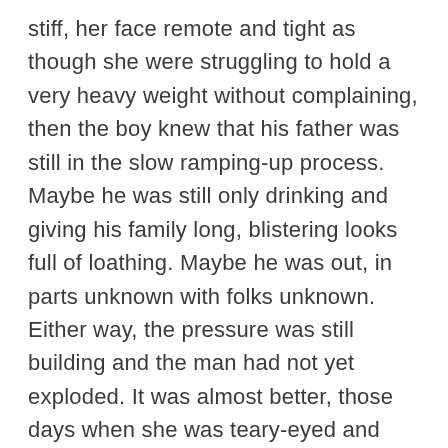stiff, her face remote and tight as though she were struggling to hold a very heavy weight without complaining, then the boy knew that his father was still in the slow ramping-up process. Maybe he was still only drinking and giving his family long, blistering looks full of loathing. Maybe he was out, in parts unknown with folks unknown. Either way, the pressure was still building and the man had not yet exploded. It was almost better, those days when she was teary-eyed and cowering, because it meant that the storm had broken. Instead of tight and stiff, her body would sag with a kind of terrible relief. The boy's father might be hitting the walls or hitting the four of them but at least it was happening outright, no more waiting or imagining or anticipating. Soon enough, he would exhaust